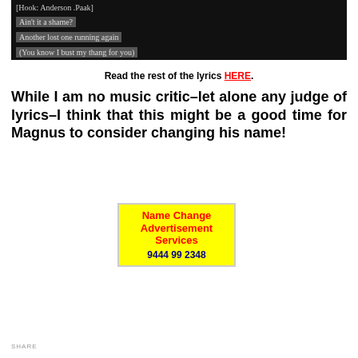[Figure (screenshot): Screenshot of song lyrics on dark background showing: [Hook: Anderson .Paak], Ain't it a shame?, Another lost one running again, (You know I bust my thang for you)]
Read the rest of the lyrics HERE.
While I am no music critic–let alone any judge of lyrics–I think that this might be a good time for Magnus to consider changing his name!
[Figure (infographic): Yellow advertisement box reading: Name Change Advertisement Services 9444 99 2348]
SHARE